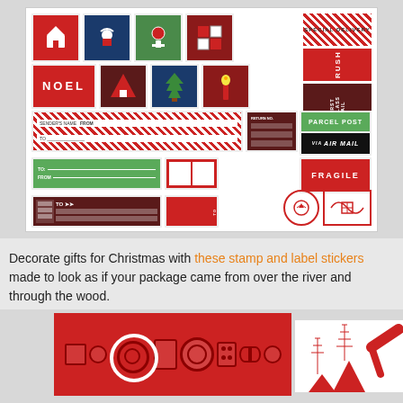[Figure (photo): Christmas stamp and label sticker sheet with postal-themed designs including NOEL, PARCEL POST, AIR MAIL, FRAGILE, RUSH, and address label stickers in red, green, and dark red colors]
Decorate gifts for Christmas with these stamp and label stickers made to look as if your package came from over the river and through the wood.
[Figure (photo): Red sticker sheet with Christmas candy and ornament shapes in dark red outlines on bright red background, partially showing a white sheet with Christmas tree designs]